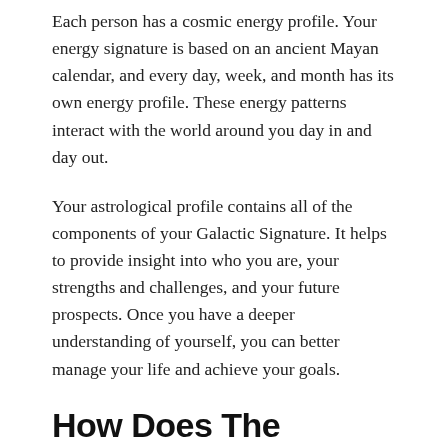Each person has a cosmic energy profile. Your energy signature is based on an ancient Mayan calendar, and every day, week, and month has its own energy profile. These energy patterns interact with the world around you day in and day out.
Your astrological profile contains all of the components of your Galactic Signature. It helps to provide insight into who you are, your strengths and challenges, and your future prospects. Once you have a deeper understanding of yourself, you can better manage your life and achieve your goals.
How Does The Cosmic Energy Profile Work?
Understanding how the energy of the universe interacts